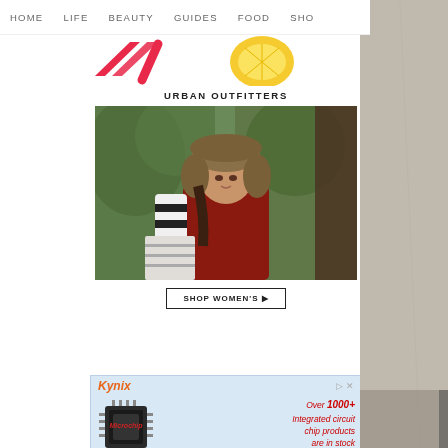HOME   LIFE   BEAUTY   GUIDES   FOOD   SHO
[Figure (illustration): Partial pink/red slash shapes and yellow lemon slice illustration on white background]
[Figure (photo): Urban Outfitters advertisement showing a woman wearing a fur-style trapper hat and red knit sweater with striped sleeves, outdoors with green foliage background]
[Figure (photo): Kynix Semiconductor advertisement on light blue background with microchip image, text: Over 1000+ Integrated circuit chip products are in stock and available now. Kynix Semiconductor]
[Figure (photo): Partial stone/marble texture panel on right side of page]